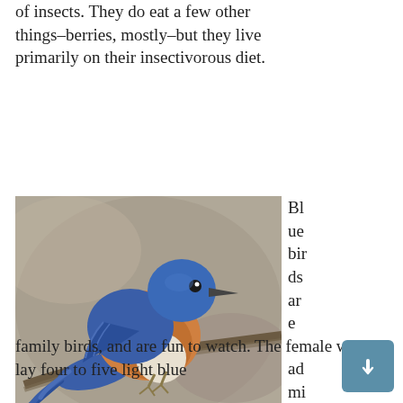of insects. They do eat a few other things–berries, mostly–but they live primarily on their insectivorous diet.
[Figure (photo): A bluebird perched on a branch, showing bright blue plumage on wings and head, rust-orange chest, and white belly. Background is blurred grey-brown.]
Bluebirds are admirable
family birds, and are fun to watch. The female will lay four to five light blue